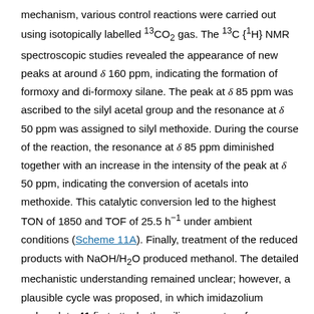mechanism, various control reactions were carried out using isotopically labelled 13CO2 gas. The 13C {1H} NMR spectroscopic studies revealed the appearance of new peaks at around δ 160 ppm, indicating the formation of formoxy and di-formoxy silane. The peak at δ 85 ppm was ascribed to the silyl acetal group and the resonance at δ 50 ppm was assigned to silyl methoxide. During the course of the reaction, the resonance at δ 85 ppm diminished together with an increase in the intensity of the peak at δ 50 ppm, indicating the conversion of acetals into methoxide. This catalytic conversion led to the highest TON of 1850 and TOF of 25.5 h−1 under ambient conditions (Scheme 11A). Finally, treatment of the reduced products with NaOH/H2O produced methanol. The detailed mechanistic understanding remained unclear; however, a plausible cycle was proposed, in which imidazolium carboxylate 41 first attacks the silicone centre of diphenylsilane, which facilitates the hydride transfer in a concerted manner producing formoxysilane 42 (Scheme